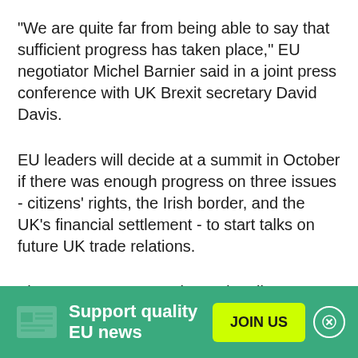"We are quite far from being able to say that sufficient progress has taken place," EU negotiator Michel Barnier said in a joint press conference with UK Brexit secretary David Davis.
EU leaders will decide at a summit in October if there was enough progress on three issues - citizens' rights, the Irish border, and the UK's financial settlement - to start talks on future UK trade relations.
The UK wants to start the trade talks as soon as possible.
Support quality EU news | JOIN US